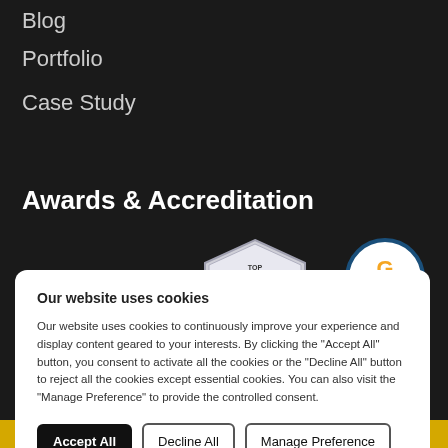Blog
Portfolio
Case Study
Awards & Accreditation
[Figure (logo): TOP IT SERVICES FIRMS badge - pentagon/shield shaped silver badge]
[Figure (logo): GoodFirms badge - circular badge with orange G logo and GoodFirms text]
Our website uses cookies
Our website uses cookies to continuously improve your experience and display content geared to your interests. By clicking the "Accept All" button, you consent to activate all the cookies or the "Decline All" button to reject all the cookies except essential cookies. You can also visit the "Manage Preference" to provide the controlled consent.
Accept All
Decline All
Manage Preference
Gold Partner